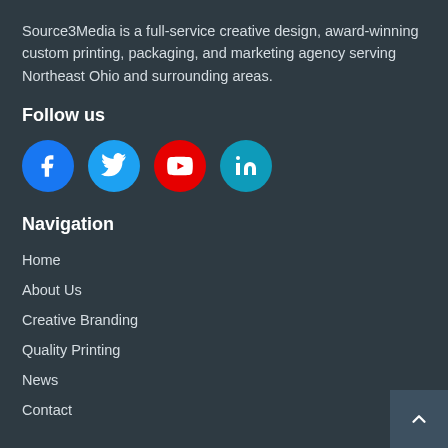Source3Media is a full-service creative design, award-winning custom printing, packaging, and marketing agency serving Northeast Ohio and surrounding areas.
Follow us
[Figure (infographic): Four social media icon circles: Facebook (blue), Twitter (light blue), YouTube (red), LinkedIn (teal)]
Navigation
Home
About Us
Creative Branding
Quality Printing
News
Contact